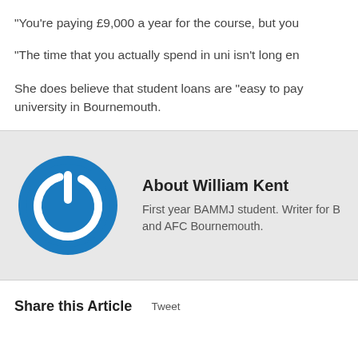“You’re paying £9,000 a year for the course, but you
“The time that you actually spend in uni isn’t long en
She does believe that student loans are “easy to pay… university in Bournemouth.
[Figure (logo): Blue circular power button icon]
About William Kent
First year BAMMJ student. Writer for B and AFC Bournemouth.
Share this Article
Tweet